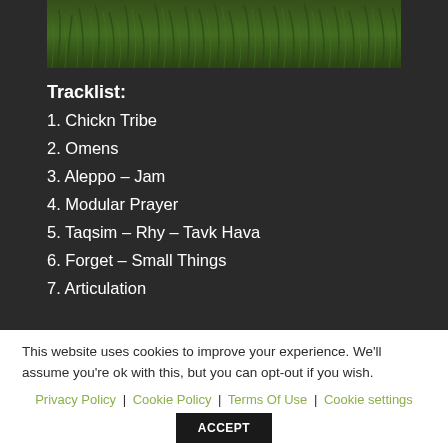[Figure (photo): Green grass/foliage photograph at the top of the page]
Tracklist:
1. Chickn Tribe
2. Omens
3. Aleppo – Jam
4. Modular Prayer
5. Taqsim – Rhy – Tavk Hava
6. Forget – Small Things
7. Articulation
This website uses cookies to improve your experience. We'll assume you're ok with this, but you can opt-out if you wish.
Privacy Policy | Cookie Policy | Terms Of Use | Cookie settings
ACCEPT